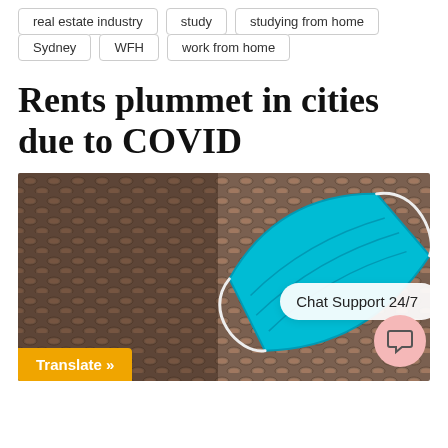real estate industry
study
studying from home
Sydney
WFH
work from home
Rents plummet in cities due to COVID
[Figure (photo): A teal/cyan face mask lying on a diamond plate metal surface. Overlaid UI elements include a 'Chat Support 24/7' speech bubble in the top-right area, a pink circular chat icon at the bottom right, and an orange 'Translate »' button at the bottom left.]